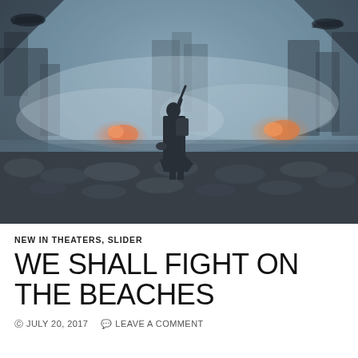[Figure (photo): A soldier in a long coat stands on a rocky beach amid smoke, fire, and destruction with military vehicles and buildings in the misty background — a scene from the film Dunkirk.]
NEW IN THEATERS, SLIDER
WE SHALL FIGHT ON THE BEACHES
JULY 20, 2017   LEAVE A COMMENT